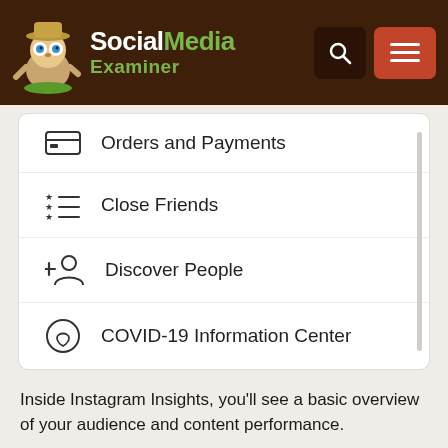[Figure (screenshot): Social Media Examiner website header with logo (mascot character in safari hat with binoculars), SocialMedia Examiner text logo in white and green, search button (dark), and hamburger menu button (red/orange)]
[Figure (screenshot): Instagram settings menu screenshot showing four items: Orders and Payments (credit card icon), Close Friends (starred list icon), Discover People (add person icon), COVID-19 Information Center (heart/circle icon), with a scrollbar on the right]
Inside Instagram Insights, you'll see a basic overview of your audience and content performance.
At the top of the screen, you can select the date range to be displayed and access Instagram's new